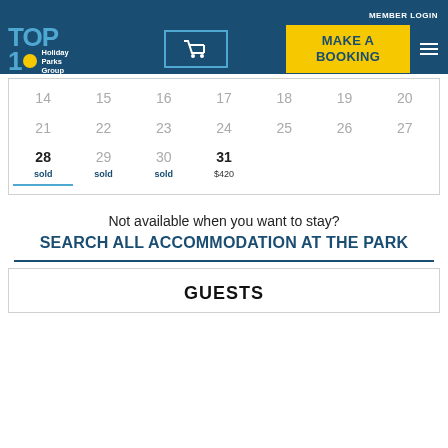MEMBER LOGIN
[Figure (logo): TOP 10 Holiday Parks Group logo with blue text and yellow dot]
[Figure (screenshot): Shopping cart icon in a blue-bordered box]
MAKE A BOOKING
| 14 | 15 | 16 | 17 | 18 | 19 | 20 |
| 21 | 22 | 23 | 24 | 25 | 26 | 27 |
| 28
sold | 29
sold | 30
sold | 31
$420 |  |  |  |
Not available when you want to stay?
SEARCH ALL ACCOMMODATION AT THE PARK
GUESTS